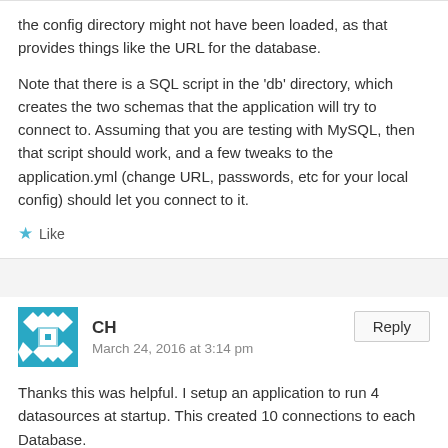the config directory might not have been loaded, as that provides things like the URL for the database.

Note that there is a SQL script in the 'db' directory, which creates the two schemas that the application will try to connect to. Assuming that you are testing with MySQL, then that script should work, and a few tweaks to the application.yml (change URL, passwords, etc for your local config) should let you connect to it.
Like
CH
March 24, 2016 at 3:14 pm
Thanks this was helpful. I setup an application to run 4 datasources at startup. This created 10 connections to each Database.